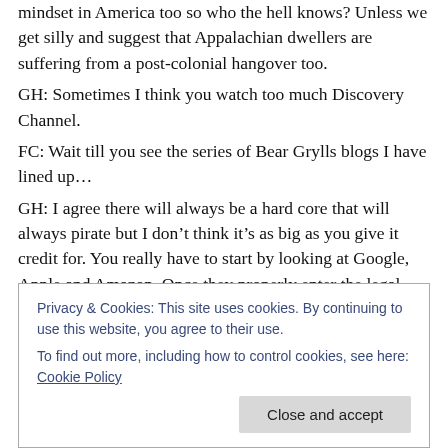mindset in America too so who the hell knows? Unless we get silly and suggest that Appalachian dwellers are suffering from a post-colonial hangover too.
GH: Sometimes I think you watch too much Discovery Channel.
FC: Wait till you see the series of Bear Grylls blogs I have lined up…
GH: I agree there will always be a hard core that will always pirate but I don't think it's as big as you give it credit for. You really have to start by looking at Google, Apple and Amazon. Once they properly enter the legal
Privacy & Cookies: This site uses cookies. By continuing to use this website, you agree to their use.
To find out more, including how to control cookies, see here: Cookie Policy